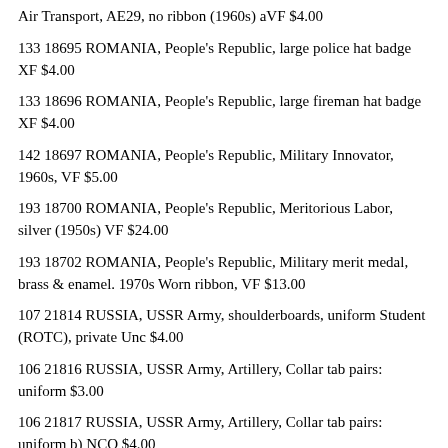Air Transport, AE29, no ribbon (1960s) aVF $4.00
133 18695 ROMANIA, People's Republic, large police hat badge XF $4.00
133 18696 ROMANIA, People's Republic, large fireman hat badge XF $4.00
142 18697 ROMANIA, People's Republic, Military Innovator, 1960s, VF $5.00
193 18700 ROMANIA, People's Republic, Meritorious Labor, silver (1950s) VF $24.00
193 18702 ROMANIA, People's Republic, Military merit medal, brass & enamel. 1970s Worn ribbon, VF $13.00
107 21814 RUSSIA, USSR Army, shoulderboards, uniform Student (ROTC), private Unc $4.00
106 21816 RUSSIA, USSR Army, Artillery, Collar tab pairs: uniform $3.00
106 21817 RUSSIA, USSR Army, Artillery, Collar tab pairs: uniform b) NCO $4.00
106 21818 RUSSIA, USSR Army, Artillery, Collar tab pairs: